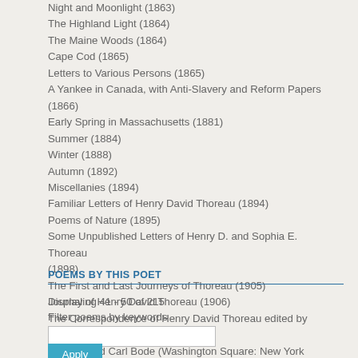Night and Moonlight (1863)
The Highland Light (1864)
The Maine Woods (1864)
Cape Cod (1865)
Letters to Various Persons (1865)
A Yankee in Canada, with Anti-Slavery and Reform Papers (1866)
Early Spring in Massachusetts (1881)
Summer (1884)
Winter (1888)
Autumn (1892)
Miscellanies (1894)
Familiar Letters of Henry David Thoreau (1894)
Poems of Nature (1895)
Some Unpublished Letters of Henry D. and Sophia E. Thoreau (1898)
The First and Last Journeys of Thoreau (1905)
Journal of Henry David Thoreau (1906)
The Correspondence of Henry David Thoreau edited by Walter Harding and Carl Bode (Washington Square: New York University Press, 1958
POEMS BY THIS POET
Displaying 41 - 50 of 215
Filter poems by keywords